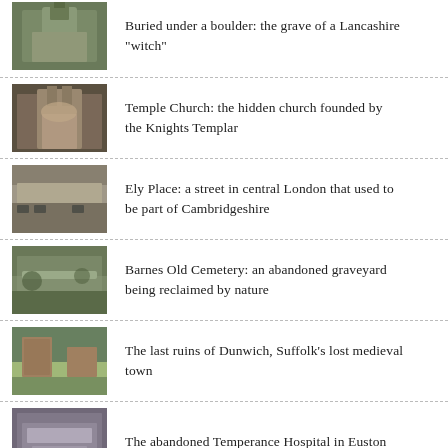Buried under a boulder: the grave of a Lancashire "witch"
Temple Church: the hidden church founded by the Knights Templar
Ely Place: a street in central London that used to be part of Cambridgeshire
Barnes Old Cemetery: an abandoned graveyard being reclaimed by nature
The last ruins of Dunwich, Suffolk's lost medieval town
The abandoned Temperance Hospital in Euston
Among the rioters and resurrectionists: the turbulent history of Spa Fields